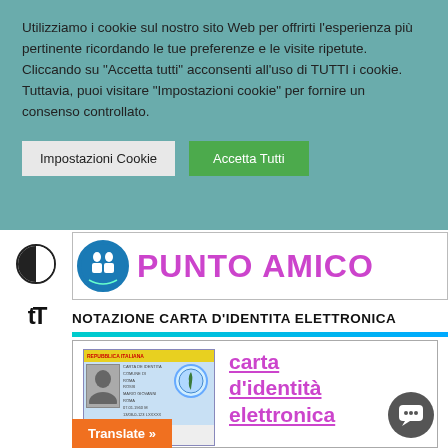Utilizziamo i cookie sul nostro sito Web per offrirti l'esperienza più pertinente ricordando le tue preferenze e le visite ripetute. Cliccando su "Accetta tutti" acconsenti all'uso di TUTTI i cookie. Tuttavia, puoi visitare "Impostazioni cookie" per fornire un consenso controllato.
Impostazioni Cookie
Accetta Tutti
[Figure (logo): Punto Amico logo with circular icon and magenta text]
NOTAZIONE CARTA D'IDENTITA ELETTRONICA
[Figure (photo): Italian electronic identity card (Carta d'identità elettronica) image]
carta d'identità elettronica
Translate »